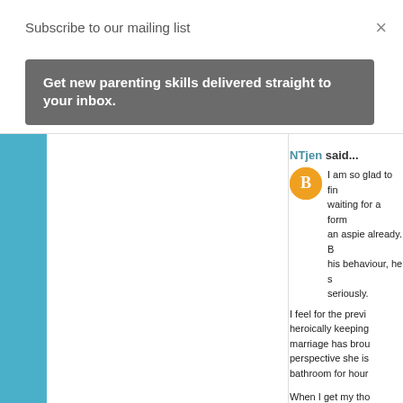Subscribe to our mailing list
×
Get new parenting skills delivered straight to your inbox.
NTjen said...
I am so glad to fin... waiting for a form... an aspie already. B... his behaviour, he s... seriously.

I feel for the previ... heroically keeping... marriage has brou... perspective she is... bathroom for hour...

When I get my tho... make another entr... information my br...

I am hoping the di...